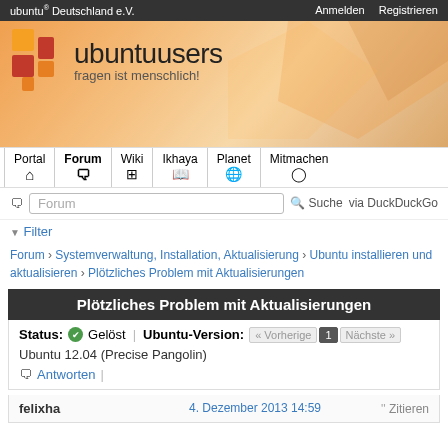ubuntu® Deutschland e.V.   Anmelden   Registrieren
[Figure (logo): ubuntuusers logo with orange and red geometric shapes and text 'ubuntuusers fragen ist menschlich!']
Portal | Forum | Wiki | Ikhaya | Planet | Mitmachen
Forum   Suche via DuckDuckGo
▼ Filter
Forum › Systemverwaltung, Installation, Aktualisierung › Ubuntu installieren und aktualisieren › Plötzliches Problem mit Aktualisierungen
Plötzliches Problem mit Aktualisierungen
Status: ✔ Gelöst | Ubuntu-Version: « Vorherige 1 Nächste »
Ubuntu 12.04 (Precise Pangolin)
Antworten |
felixha   4. Dezember 2013 14:59   Zitieren